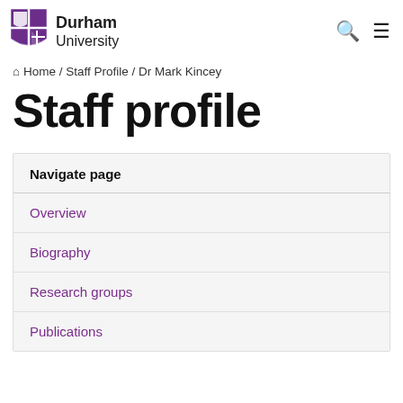[Figure (logo): Durham University shield/crest logo in purple and white]
Durham University
Home / Staff Profile / Dr Mark Kincey
Staff profile
Navigate page
Overview
Biography
Research groups
Publications